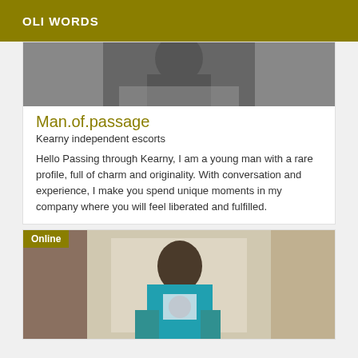OLI WORDS
[Figure (photo): Black and white partial photo of a person, cropped at top]
Man.of.passage
Kearny independent escorts
Hello Passing through Kearny, I am a young man with a rare profile, full of charm and originality. With conversation and experience, I make you spend unique moments in my company where you will feel liberated and fulfilled.
[Figure (photo): Person taking a mirror selfie with a camera, wearing teal/turquoise clothing, with an 'Online' badge overlay]